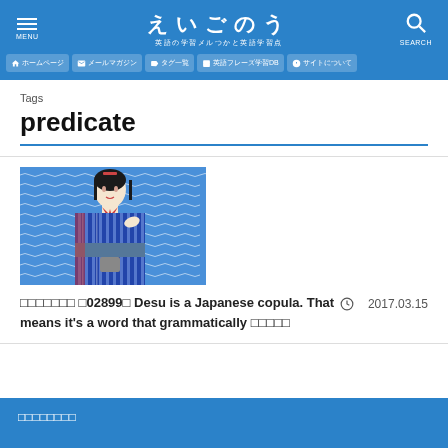えいごのう 英語の学習メルつかと英語学習点 MENU SEARCH
ホームページ メールマガジン タグ一覧 英語フレーズ学習DB サイトについて
Tags
predicate
[Figure (illustration): Japanese woodblock ukiyo-e style illustration of a woman in a blue striped kimono against a blue wave pattern background]
□□□□□□□ □02899□ Desu is a Japanese copula. That means it's a word that grammatically □□□□□ 2017.03.15
□□□□□□□□